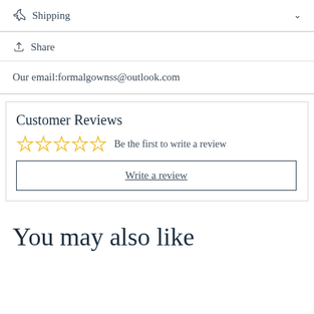Shipping
Share
Our email:formalgownss@outlook.com
Customer Reviews
Be the first to write a review
Write a review
You may also like